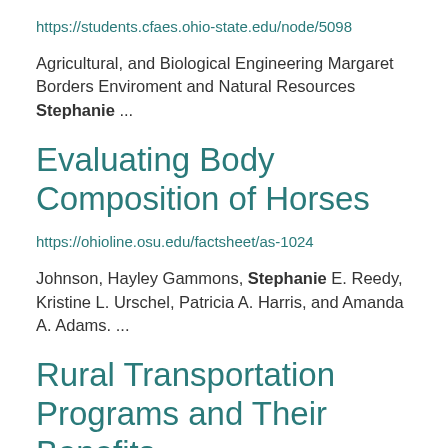https://students.cfaes.ohio-state.edu/node/5098
Agricultural, and Biological Engineering Margaret Borders Enviroment and Natural Resources Stephanie ...
Evaluating Body Composition of Horses
https://ohioline.osu.edu/factsheet/as-1024
Johnson, Hayley Gammons, Stephanie E. Reedy, Kristine L. Urschel, Patricia A. Harris, and Amanda A. Adams. ...
Rural Transportation Programs and Their Benefits